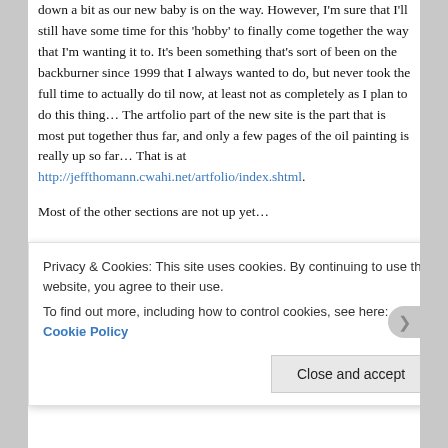down a bit as our new baby is on the way. However, I'm sure that I'll still have some time for this 'hobby' to finally come together the way that I'm wanting it to. It's been something that's sort of been on the backburner since 1999 that I always wanted to do, but never took the full time to actually do til now, at least not as completely as I plan to do this thing… The artfolio part of the new site is the part that is most put together thus far, and only a few pages of the oil painting is really up so far… That is at http://jeffthomann.cwahi.net/artfolio/index.shtml.
Most of the other sections are not up yet…
The 'old' portfolio site at http://jeffthomann.cwahi.net/ is still up and running for the here and now… but over time
Privacy & Cookies: This site uses cookies. By continuing to use this website, you agree to their use.
To find out more, including how to control cookies, see here: Cookie Policy